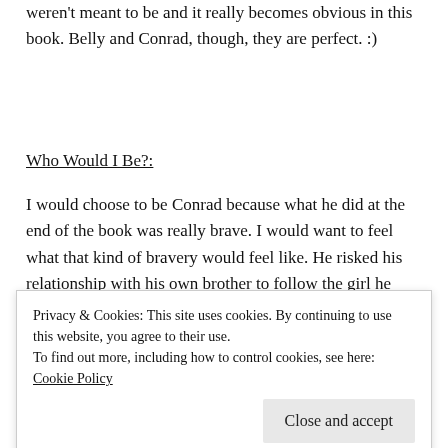weren't meant to be and it really becomes obvious in this book. Belly and Conrad, though, they are perfect. :)
Who Would I Be?:
I would choose to be Conrad because what he did at the end of the book was really brave. I would want to feel what that kind of bravery would feel like. He risked his relationship with his own brother to follow the girl he
Privacy & Cookies: This site uses cookies. By continuing to use this website, you agree to their use.
To find out more, including how to control cookies, see here: Cookie Policy
Close and accept